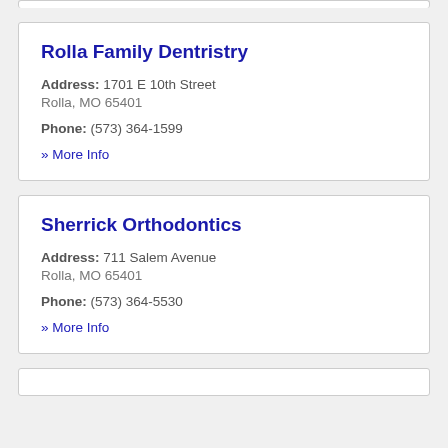Rolla Family Dentristry
Address: 1701 E 10th Street
Rolla, MO 65401
Phone: (573) 364-1599
» More Info
Sherrick Orthodontics
Address: 711 Salem Avenue
Rolla, MO 65401
Phone: (573) 364-5530
» More Info